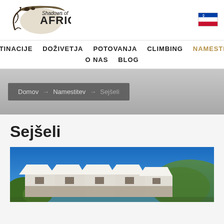[Figure (logo): Shadows of Africa logo with silhouette animals and Africa continent shape]
[Figure (logo): Slovenian flag icon in top right corner]
DESTINACIJE  DOŽIVETJA  POTOVANJA  CLIMBING  NAMESTITEV  O NAS  BLOG
Domov → Namestitev → Sejšeli
Sejšeli
[Figure (photo): Row of white-roofed bungalow/lodge buildings with blue sky and green hills in background — Seychelles accommodation]